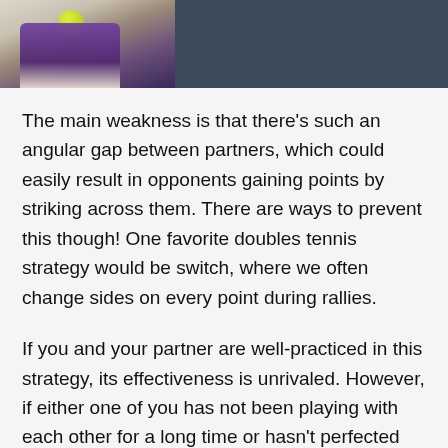[Figure (photo): Photo banner showing a tennis player in purple outfit with a tennis ball, against a dark blue-grey background.]
The main weakness is that there’s such an angular gap between partners, which could easily result in opponents gaining points by striking across them. There are ways to prevent this though! One favorite doubles tennis strategy would be switch, where we often change sides on every point during rallies.
If you and your partner are well-practiced in this strategy, its effectiveness is unrivaled. However, if either one of you has not been playing with each other for a long time or hasn’t perfected communication between yourselves during play yet, then I recommend staying away from